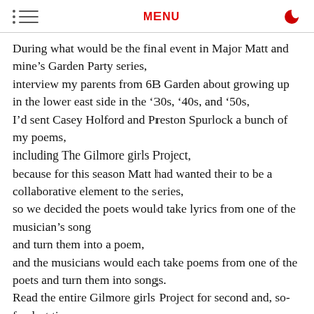MENU
During what would be the final event in Major Matt and mine's Garden Party series,
interview my parents from 6B Garden about growing up in the lower east side in the ’30s, ’40s, and ’50s,
I’d sent Casey Holford and Preston Spurlock a bunch of my poems,
including The Gilmore girls Project,
because for this season Matt had wanted their to be a collaborative element to the series,
so we decided the poets would take lyrics from one of the musician’s song
and turn them into a poem,
and the musicians would each take poems from one of the poets and turn them into songs.
Read the entire Gilmore girls Project for second and, so-far, last time,
followed by Casey and Preston Spurlock
using my Gilmore girls tinged poems as the lyrics for their